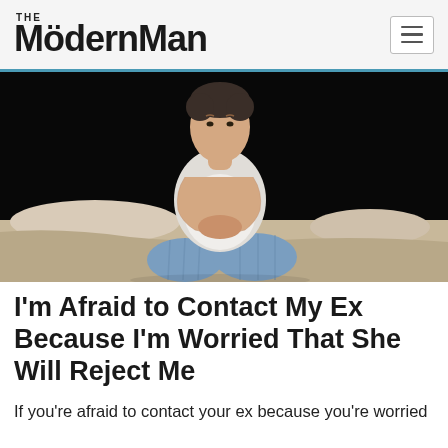The ModernMan
[Figure (photo): A man in a white t-shirt and blue pajama pants sitting on the edge of a bed in a dark room, hands clasped together near his mouth, looking worried or distressed.]
I'm Afraid to Contact My Ex Because I'm Worried That She Will Reject Me
If you're afraid to contact your ex because you're worried